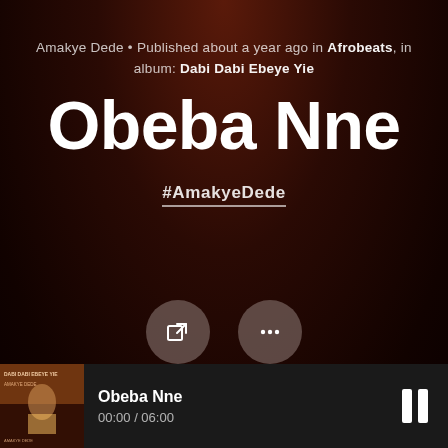Amakye Dede • Published about a year ago in Afrobeats, in album: Dabi Dabi Ebeye Yie
Obeba Nne
#AmakyeDede
[Figure (other): Two circular buttons: a share/external link button and a more options (ellipsis) button]
[Figure (other): Audio waveform visualization showing the waveform of the track]
[Figure (other): Music player bar at bottom showing album art for Dabi Dabi Ebeye Yie, song title Obeba Nne, time 00:00 / 06:00, and pause button]